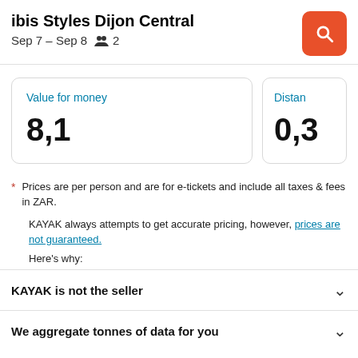ibis Styles Dijon Central
Sep 7 – Sep 8   2
Value for money
8,1
Distance
0,3
* Prices are per person and are for e-tickets and include all taxes & fees in ZAR.
KAYAK always attempts to get accurate pricing, however, prices are not guaranteed.
Here's why:
KAYAK is not the seller
We aggregate tonnes of data for you